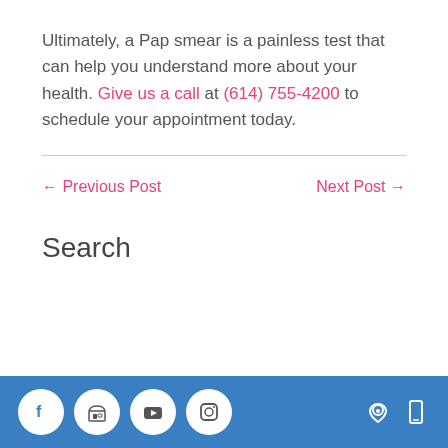Ultimately, a Pap smear is a painless test that can help you understand more about your health. Give us a call at (614) 755-4200 to schedule your appointment today.
← Previous Post
Next Post →
Search
Social media icons: Facebook, Store, YouTube, Instagram | Location icon | Mobile icon